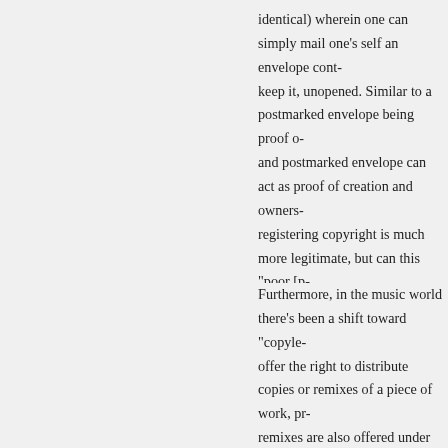identical) wherein one can simply mail one's self an envelope cont... keep it, unopened. Similar to a postmarked envelope being proof o... and postmarked envelope can act as proof of creation and owners... registering copyright is much more legitimate, but can this "poor [p... up in court or negotiations?
Furthermore, in the music world there's been a shift toward "copyle... offer the right to distribute copies or remixes of a piece of work, pr... remixes are also offered under the same conditions. Creative Com... (http://creativecommons.org/) is the most notable organization pr... method. Obviously, there are some differences between the music... industries, but I wonder how a shift toward more open copyright in... effect the way we work.
Hazel PERMALINK July 20, 2011
I'm quite late in replying to this, sorry. But did wa... things.
I, too, came across the "poor (wo)man's copyri...